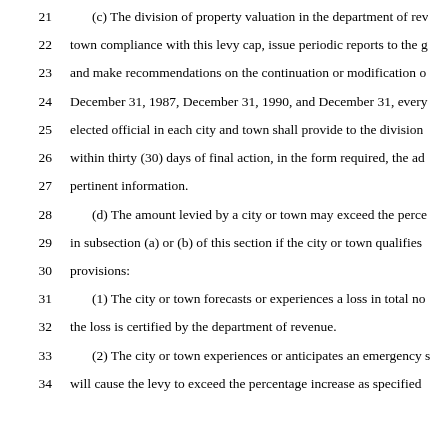21    (c) The division of property valuation in the department of rev
22    town compliance with this levy cap, issue periodic reports to the g
23    and make recommendations on the continuation or modification o
24    December 31, 1987, December 31, 1990, and December 31, every
25    elected official in each city and town shall provide to the division
26    within thirty (30) days of final action, in the form required, the ad
27    pertinent information.
28    (d) The amount levied by a city or town may exceed the perce
29    in subsection (a) or (b) of this section if the city or town qualifies
30    provisions:
31    (1) The city or town forecasts or experiences a loss in total no
32    the loss is certified by the department of revenue.
33    (2) The city or town experiences or anticipates an emergency s
34    will cause the levy to exceed the percentage increase as specified